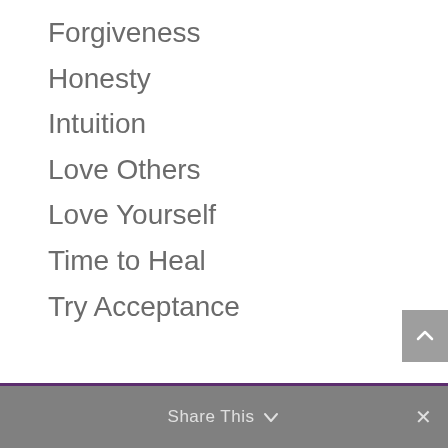Forgiveness
Honesty
Intuition
Love Others
Love Yourself
Time to Heal
Try Acceptance
Share This ∨  ×